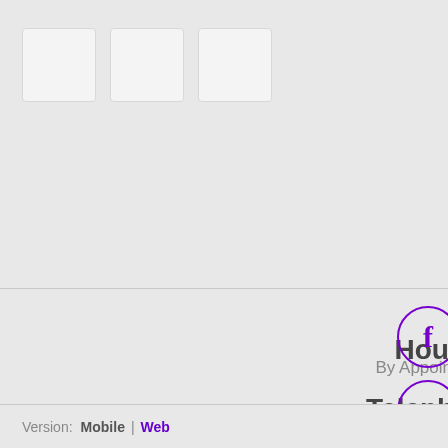[Figure (illustration): Three blank white square placeholder image boxes in a row]
Hours
By Appointment
Telephone
910-384-0599
[Figure (illustration): Social media icons on the right side: Facebook, Google+, Pinterest, YouTube, LinkedIn — all in purple circle outlines]
Version: Mobile | Web